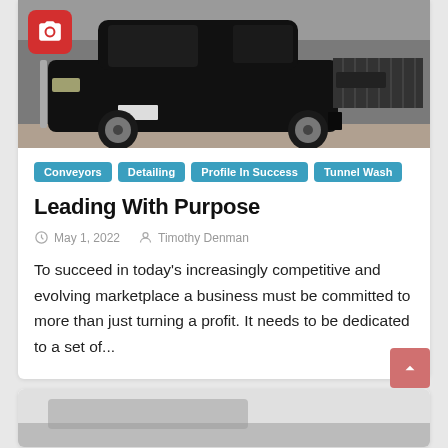[Figure (photo): Black SUV/truck in an auto wash or service bay, photographed from front-left angle. A red camera icon overlay appears in the top-left corner of the image.]
Conveyors
Detailing
Profile In Success
Tunnel Wash
Leading With Purpose
May 1, 2022   Timothy Denman
To succeed in today's increasingly competitive and evolving marketplace a business must be committed to more than just turning a profit. It needs to be dedicated to a set of...
[Figure (photo): Bottom portion of a second article card, partially visible, showing the top of what appears to be another vehicle image.]